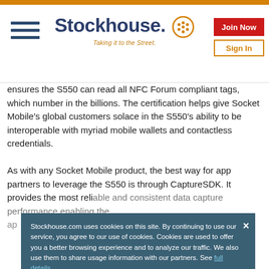[Figure (logo): Stockhouse logo with hamburger menu, tagline 'Taking it to the Street.', Join Now and Sign In buttons]
ensures the S550 can read all NFC Forum compliant tags, which number in the billions. The certification helps give Socket Mobile's global customers solace in the S550's ability to be interoperable with myriad mobile wallets and contactless credentials.
As with any Socket Mobile product, the best way for app partners to leverage the S550 is through CaptureSDK. It provides the most reliable and consistent data capture performance enabling the app...
Stockhouse.com uses cookies on this site. By continuing to use our service, you agree to our use of cookies. Cookies are used to offer you a better browsing experience and to analyze our traffic. We also use them to share usage information with our partners. See full details.
I Agree